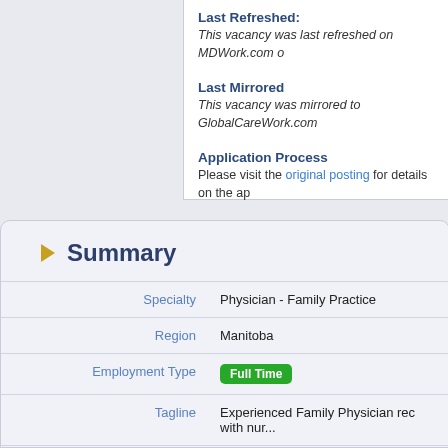Last Refreshed:
This vacancy was last refreshed on MDWork.com o
Last Mirrored
This vacancy was mirrored to GlobalCareWork.com
Application Process
Please visit the original posting for details on the ap
Summary
| Field | Value |
| --- | --- |
| Specialty | Physician - Family Practice |
| Region | Manitoba |
| Employment Type | Full Time |
| Tagline | Experienced Family Physician rec with nur... |
| Start Date | immediately, see description abov |